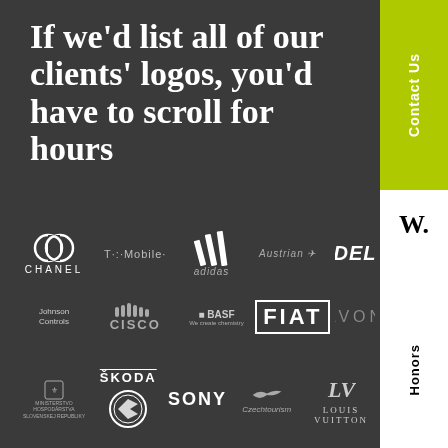If we'd list all of our clients' logos, you'd have to scroll for hours
[Figure (logo): Chanel double-C logo with CHANEL text]
[Figure (logo): T-Mobile logo text]
[Figure (logo): Adidas three stripes logo]
[Figure (logo): Austrian Airlines logo]
[Figure (logo): Dell logo (partially visible)]
[Figure (logo): Johnson Controls logo]
[Figure (logo): Cisco logo with wave lines]
[Figure (logo): BASF We create chemistry logo]
[Figure (logo): FIAT logo in rectangle]
[Figure (logo): Avon logo (partially visible)]
[Figure (logo): Skoda logo with winged arrow emblem]
[Figure (logo): Slovak government logo]
[Figure (logo): Sony logo]
[Figure (logo): CzechTourism logo]
[Figure (logo): Louis Vuitton LV monogram and text]
Contact Us
W.
Honors